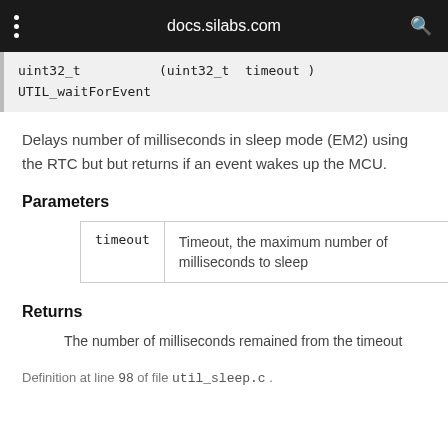docs.silabs.com
Delays number of milliseconds in sleep mode (EM2) using the RTC but but returns if an event wakes up the MCU.
Parameters
| Parameter | Description |
| --- | --- |
| timeout | Timeout, the maximum number of milliseconds to sleep |
Returns
The number of milliseconds remained from the timeout
Definition at line 98 of file util_sleep.c .